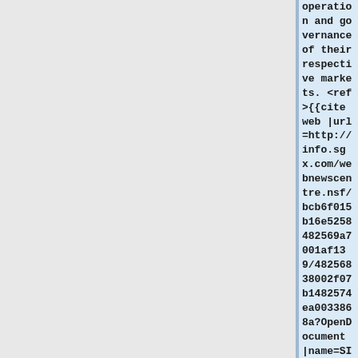operation and governance of their respective markets. <ref>{{cite web |url=http://info.sgx.com/webnewscentre.nsf/bcb6f015b16e5258482569a7001af139/48256838002f07b1482574ea0033868a?OpenDocument |name=SINGAPO